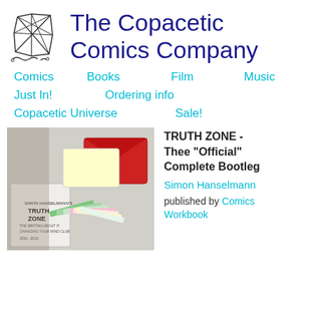[Figure (logo): Abstract geometric logo with tangled lines forming a cube-like shape with wavy lines at the bottom]
The Copacetic Comics Company
Comics   Books   Film   Music
Just In!   Ordering info
Copacetic Universe   Sale!
[Figure (photo): Photo of Truth Zone comic books and zines, showing a white zine with 'TRUTH ZONE' text, a red envelope/folder, and colorful loose papers/comics spread out]
TRUTH ZONE - Thee "Official" Complete Bootleg
Simon Hanselmann
published by Comics Workbook